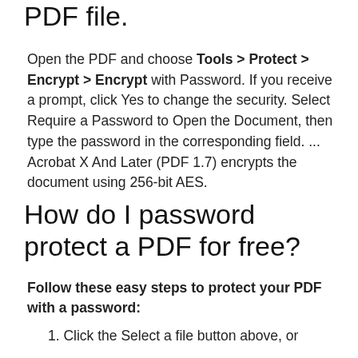PDF file.
Open the PDF and choose Tools > Protect > Encrypt > Encrypt with Password. If you receive a prompt, click Yes to change the security. Select Require a Password to Open the Document, then type the password in the corresponding field. ... Acrobat X And Later (PDF 1.7) encrypts the document using 256-bit AES.
How do I password protect a PDF for free?
Follow these easy steps to protect your PDF with a password:
1. Click the Select a file button above, or